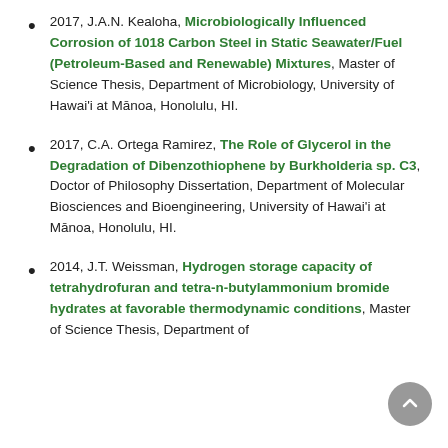2017, J.A.N. Kealoha, Microbiologically Influenced Corrosion of 1018 Carbon Steel in Static Seawater/Fuel (Petroleum-Based and Renewable) Mixtures, Master of Science Thesis, Department of Microbiology, University of Hawai'i at Mānoa, Honolulu, HI.
2017, C.A. Ortega Ramirez, The Role of Glycerol in the Degradation of Dibenzothiophene by Burkholderia sp. C3, Doctor of Philosophy Dissertation, Department of Molecular Biosciences and Bioengineering, University of Hawai'i at Mānoa, Honolulu, HI.
2014, J.T. Weissman, Hydrogen storage capacity of tetrahydrofuran and tetra-n-butylammonium bromide hydrates at favorable thermodynamic conditions, Master of Science Thesis, Department of